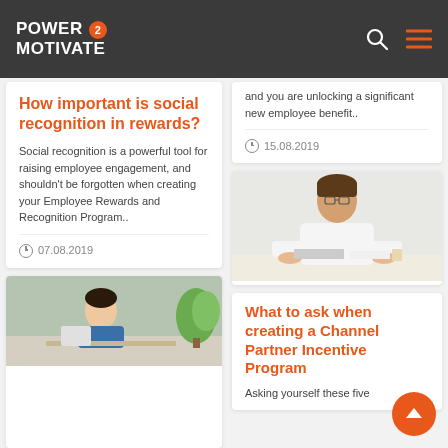POWER 2 MOTIVATE
How important is social recognition in rewards?
Social recognition is a powerful tool for raising employee engagement, and shouldn't be forgotten when creating your Employee Rewards and Recognition Program..
07.08.2019
[Figure (photo): Woman working at desk with plants in background]
and you are unlocking a significant new employee benefit..
15.08.2019
[Figure (photo): Man in white t-shirt standing at desk with laptop and papers]
What to ask when creating a Channel Partner Incentive Program
Asking yourself these five